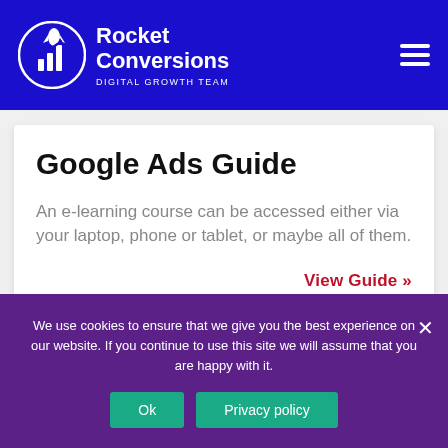Rocket Conversions DIGITAL GROWTH TEAM
Google Ads Guide
An e-learning course can be accessed either via your laptop, phone or tablet, or maybe all of them.
View Guide »
We use cookies to ensure that we give you the best experience on our website. If you continue to use this site we will assume that you are happy with it.